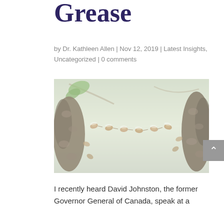Grease
by Dr. Kathleen Allen | Nov 12, 2019 | Latest Insights, Uncategorized | 0 comments
[Figure (photo): Close-up photograph of honeybees hanging and clustering from branches, forming chains between two large clusters on each side, with a soft green blurred background.]
I recently heard David Johnston, the former Governor General of Canada, speak at a